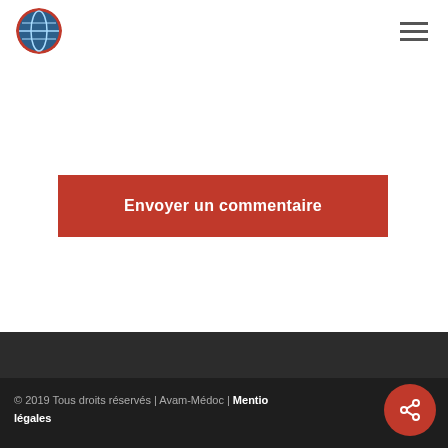Logo and navigation menu
ce navigateur pour la prochaine fois que je commente.
[Figure (other): Red submit button labeled 'Envoyer un commentaire']
© 2019 Tous droits réservés | Avam-Médoc | Mentions légales